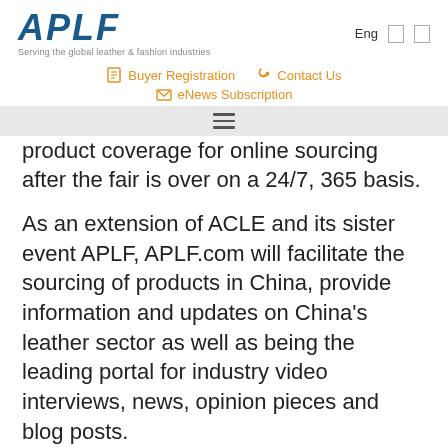APLF — Serving the global leather & fashion industries | Eng | Buyer Registration | Contact Us | eNews Subscription
product coverage for online sourcing after the fair is over on a 24/7, 365 basis.
As an extension of ACLE and its sister event APLF, APLF.com will facilitate the sourcing of products in China, provide information and updates on China's leather sector as well as being the leading portal for industry video interviews, news, opinion pieces and blog posts.